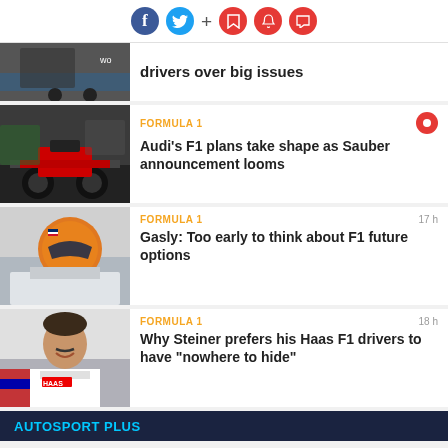Social and action icons: Facebook, Twitter, +, Bookmark, Bell, Chat
drivers over big issues
FORMULA 1
[Figure (photo): F1 car viewed from rear on pit lane]
Audi's F1 plans take shape as Sauber announcement looms
FORMULA 1
17 h
[Figure (photo): F1 driver with orange helmet in cockpit]
Gasly: Too early to think about F1 future options
FORMULA 1
18 h
[Figure (photo): Guenther Steiner smiling in Haas team gear]
Why Steiner prefers his Haas F1 drivers to have "nowhere to hide"
AUTOSPORT PLUS